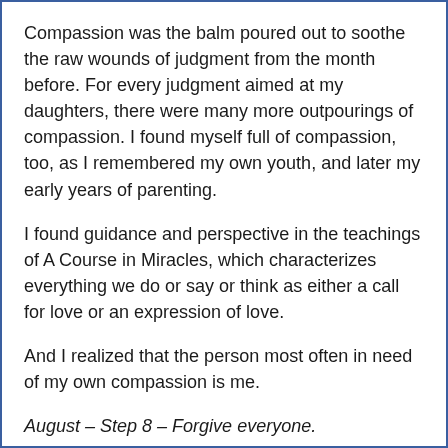Compassion was the balm poured out to soothe the raw wounds of judgment from the month before. For every judgment aimed at my daughters, there were many more outpourings of compassion. I found myself full of compassion, too, as I remembered my own youth, and later my early years of parenting.
I found guidance and perspective in the teachings of A Course in Miracles, which characterizes everything we do or say or think as either a call for love or an expression of love.
And I realized that the person most often in need of my own compassion is me.
August – Step 8 – Forgive everyone.
Forgiveness is the most challenging Step for many of us, even though most of us, I think, would agree that it's a good thing. I was struck by the quote that unforgiveness is like drinking rat poison hoping the rat will die. Reflecting on those judgments I still clung to in June, I saw that forgiveness had very little to do with the unforgiven, and